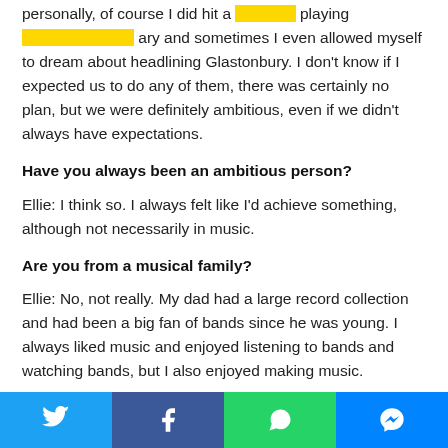personally, of course I did hit a [highlighted] playing [highlighted] ary and sometimes I even allowed myself to dream about headlining Glastonbury. I don't know if I expected us to do any of them, there was certainly no plan, but we were definitely ambitious, even if we didn't always have expectations.
Have you always been an ambitious person?
Ellie: I think so. I always felt like I'd achieve something, although not necessarily in music.
Are you from a musical family?
Ellie: No, not really. My dad had a large record collection and had been a big fan of bands since he was young. I always liked music and enjoyed listening to bands and watching bands, but I also enjoyed making music.
Your dad must be proud that you're now enjoying success in
[Figure (other): Social sharing bar with Twitter, Facebook, WhatsApp, and Messenger buttons]